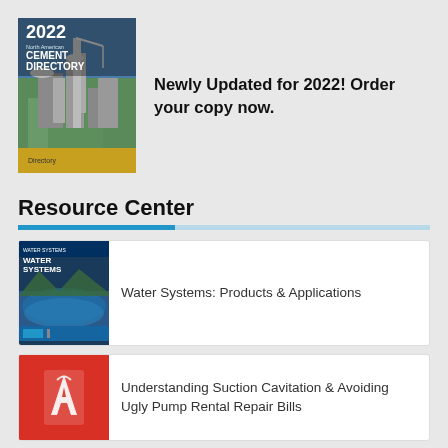[Figure (illustration): 2022 North American Cement Directory book cover with aerial photo of cement plant]
Newly Updated for 2022! Order your copy now.
Resource Center
[Figure (illustration): Water Systems: Products & Applications book cover thumbnail]
Water Systems: Products & Applications
[Figure (illustration): PDF icon on red background]
Understanding Suction Cavitation & Avoiding Ugly Pump Rental Repair Bills